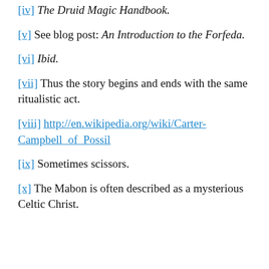[iv] The Druid Magic Handbook.
[v] See blog post: An Introduction to the Forfeda.
[vi] Ibid.
[vii] Thus the story begins and ends with the same ritualistic act.
[viii] http://en.wikipedia.org/wiki/Carter-Campbell_of_Possil
[ix] Sometimes scissors.
[x] The Mabon is often described as a mysterious Celtic Christ.